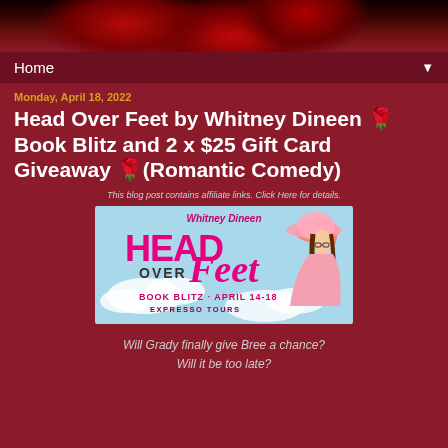[Figure (photo): Dark red rose close-up photo used as banner background at top of blog page]
Home ▼
Monday, April 18, 2022
Head Over Feet by Whitney Dineen 🌹 Book Blitz and 2 x $25 Gift Card Giveaway 🌹(Romantic Comedy)
This blog post contains affiliate links. Click Here for details.
[Figure (illustration): Book blitz promotional banner for 'Head Over Feet' by Whitney Dineen. Light blue background with clouds, illustrated woman in pink hat and dress. Bold pink text reads HEAD OVER Feet, with BOOK BLITZ · APRIL 14-18 and EXPRESSO TOURS at the bottom.]
Will Grady finally give Bree a chance?
Will it be too late?